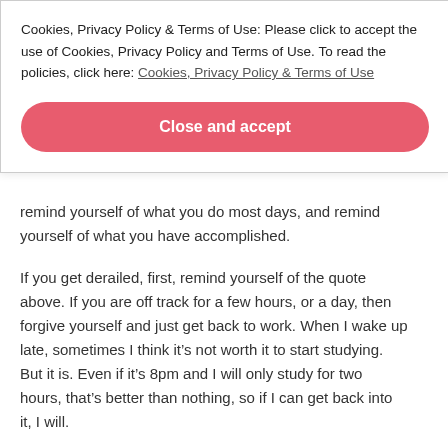Cookies, Privacy Policy & Terms of Use: Please click to accept the use of Cookies, Privacy Policy and Terms of Use. To read the policies, click here: Cookies, Privacy Policy & Terms of Use
Close and accept
remind yourself of what you do most days, and remind yourself of what you have accomplished.
If you get derailed, first, remind yourself of the quote above. If you are off track for a few hours, or a day, then forgive yourself and just get back to work. When I wake up late, sometimes I think it’s not worth it to start studying. But it is. Even if it’s 8pm and I will only study for two hours, that’s better than nothing, so if I can get back into it, I will.
Next, ask yourself if there is a reason you ended up off-track.